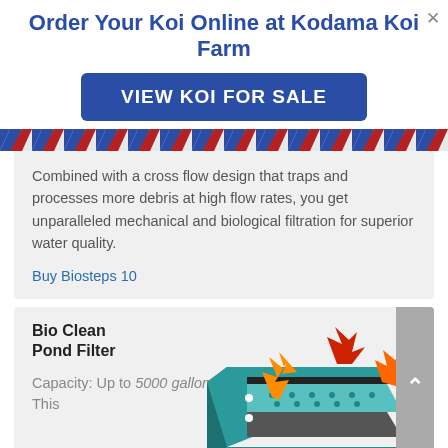Order Your Koi Online at Kodama Koi Farm
VIEW KOI FOR SALE
Combined with a cross flow design that traps and processes more debris at high flow rates, you get unparalleled mechanical and biological filtration for superior water quality.
Buy Biosteps 10
Bio Clean Pond Filter
Capacity: Up to 5000 gallons. This
[Figure (photo): Teal/green Bio Clean Pond Filter box with orange and red arrow graphics showing water flow direction, viewed from above at an angle.]